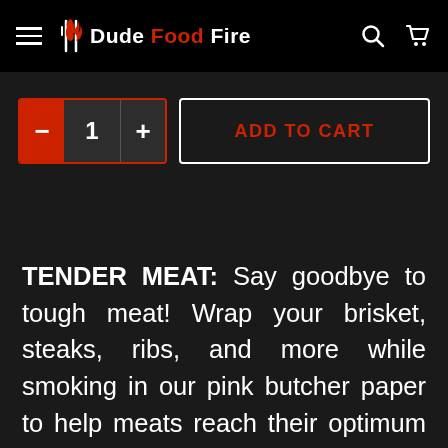Dude Food Fire
[Figure (screenshot): Add to cart UI with quantity selector showing minus button, quantity 1, plus button, and ADD TO CART button]
TENDER MEAT: Say goodbye to tough meat! Wrap your brisket, steaks, ribs, and more while smoking in our pink butcher paper to help meats reach their optimum temps faster, remain juicy, and get that deliciously smoky and crunchy, Texas crutch-style bark. FOOD GRADE, SMOKER SAFE: Non-toxic and smoker safe! Approved for direct food contact, our